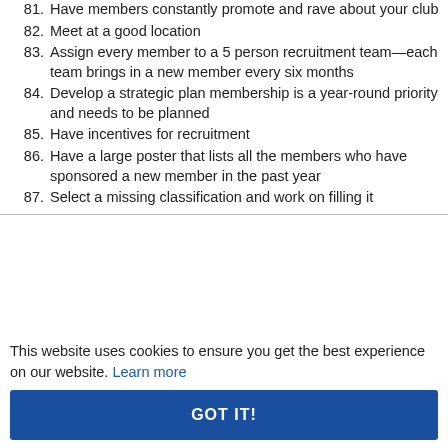81. Have members constantly promote and rave about your club
82. Meet at a good location
83. Assign every member to a 5 person recruitment team—each team brings in a new member every six months
84. Develop a strategic plan membership is a year-round priority and needs to be planned
85. Have incentives for recruitment
86. Have a large poster that lists all the members who have sponsored a new member in the past year
87. Select a missing classification and work on filling it
This website uses cookies to ensure you get the best experience on our website. Learn more
GOT IT!